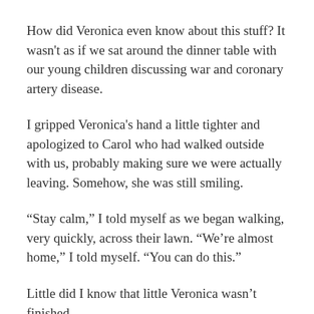How did Veronica even know about this stuff? It wasn't as if we sat around the dinner table with our young children discussing war and coronary artery disease.
I gripped Veronica's hand a little tighter and apologized to Carol who had walked outside with us, probably making sure we were actually leaving. Somehow, she was still smiling.
“Stay calm,” I told myself as we began walking, very quickly, across their lawn. “We’re almost home,” I told myself. “You can do this.”
Little did I know that little Veronica wasn’t finished.
“Well, ya know, Sam needs a father,” she said over her shoulder to Carol as she trotted to keep up with me. “I think” kids should have a father. You should get married.